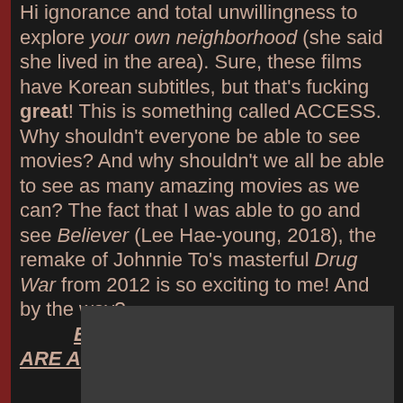Hi ignorance and total unwillingness to explore your own neighborhood (she said she lived in the area). Sure, these films have Korean subtitles, but that's fucking great! This is something called ACCESS. Why shouldn't everyone be able to see movies? And why shouldn't we all be able to see as many amazing movies as we can? The fact that I was able to go and see Believer (Lee Hae-young, 2018), the remake of Johnnie To's masterful Drug War from 2012 is so exciting to me! And by the way? BOTH VERSIONS OF THIS MOVIE ARE AMAZING!!
[Figure (photo): Dark/gray image placeholder at bottom of page]